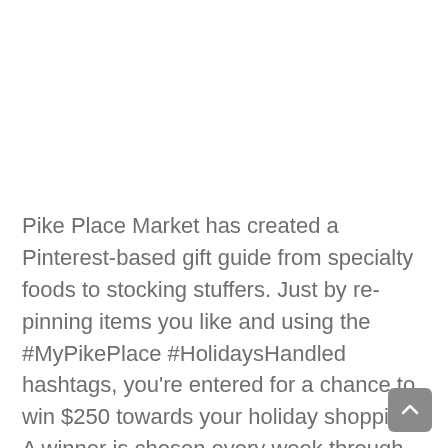Pike Place Market has created a Pinterest-based gift guide from specialty foods to stocking stuffers. Just by re-pinning items you like and using the #MyPikePlace #HolidaysHandled hashtags, you're entered for a chance to win $250 towards your holiday shopping. A winner is chosen every week through Christmas, and it would be great if at least one of them was one of your readers! Keep reading for details.